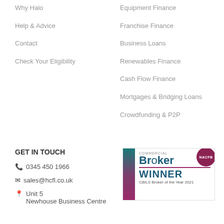Why Halo
Help & Advice
Contact
Check Your Eligibility
Equipment Finance
Franchise Finance
Business Loans
Renewables Finance
Cash Flow Finance
Mortgages & Bridging Loans
Crowdfunding & P2P
GET IN TOUCH
0345 450 1966
sales@hcfl.co.uk
Unit 5
Newhouse Business Centre
[Figure (logo): Commercial Broker NACFB WINNER CBILS Broker of the Year 2021 award badge]